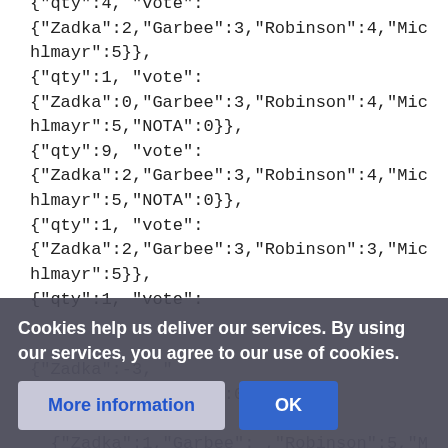{"qty":4, "vote": {"Zadka":2,"Garbee":3,"Robinson":4,"Michlmayr":5}},
{"qty":1, "vote": {"Zadka":0,"Garbee":3,"Robinson":4,"Michlmayr":5,"NOTA":0}},
{"qty":9, "vote": {"Zadka":2,"Garbee":3,"Robinson":4,"Michlmayr":5,"NOTA":0}},
{"qty":1, "vote": {"Zadka":2,"Garbee":3,"Robinson":3,"Michlmayr":5}},
{"qty":1, "vote":
... -3, "Michlmayr":5,"NOTA":0}},
{"qty":1, ...
{"Zadka":1,"Garbee":..."Robinson":5,"M...
Cookies help us deliver our services. By using our services, you agree to our use of cookies.
More information | OK